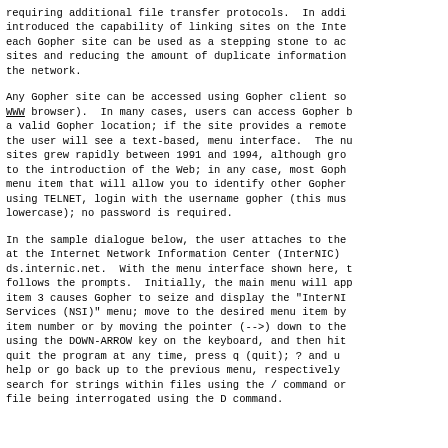requiring additional file transfer protocols. In addi introduced the capability of linking sites on the Inte each Gopher site can be used as a stepping stone to ac sites and reducing the amount of duplicate information the network.
Any Gopher site can be accessed using Gopher client so WWW browser). In many cases, users can access Gopher b a valid Gopher location; if the site provides a remote the user will see a text-based, menu interface. The nu sites grew rapidly between 1991 and 1994, although gro to the introduction of the Web; in any case, most Goph menu item that will allow you to identify other Gopher using TELNET, login with the username gopher (this mus lowercase); no password is required.
In the sample dialogue below, the user attaches to the at the Internet Network Information Center (InterNIC) ds.internic.net. With the menu interface shown here, t follows the prompts. Initially, the main menu will app item 3 causes Gopher to seize and display the "InterNI Services (NSI)" menu; move to the desired menu item by item number or by moving the pointer (-->) down to the using the DOWN-ARROW key on the keyboard, and then hit quit the program at any time, press q (quit); ? and u help or go back up to the previous menu, respectively search for strings within files using the / command or file being interrogated using the D command.